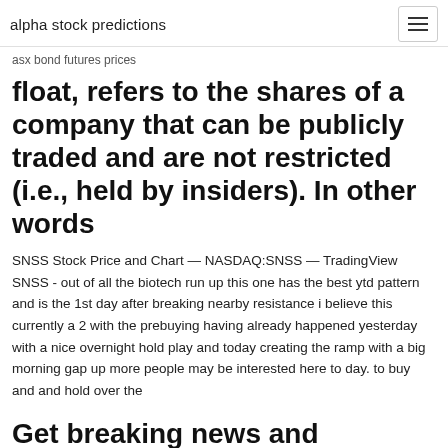alpha stock predictions
asx bond futures prices
float, refers to the shares of a company that can be publicly traded and are not restricted (i.e., held by insiders). In other words
SNSS Stock Price and Chart — NASDAQ:SNSS — TradingView SNSS - out of all the biotech run up this one has the best ytd pattern and is the 1st day after breaking nearby resistance i believe this currently a 2 with the prebuying having already happened yesterday with a nice overnight hold play and today creating the ramp with a big morning gap up more people may be interested here to day. to buy and and hold over the
Get breaking news and analysis on Sunosis